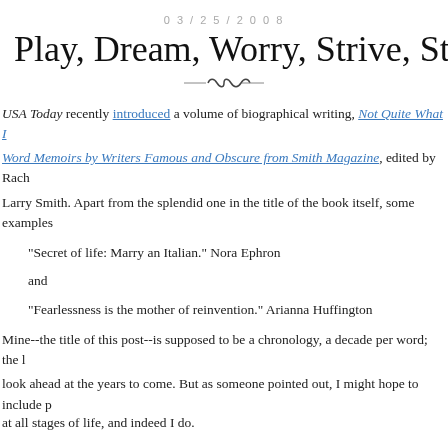03/25/2008
Play, Dream, Worry, Strive, Stress,
USA Today recently introduced a volume of biographical writing, Not Quite What I ... Word Memoirs by Writers Famous and Obscure from Smith Magazine, edited by Rach... Larry Smith. Apart from the splendid one in the title of the book itself, some examples...
"Secret of life: Marry an Italian." Nora Ephron
and
"Fearlessness is the mother of reinvention." Arianna Huffington
Mine--the title of this post--is supposed to be a chronology, a decade per word; the l... look ahead at the years to come. But as someone pointed out, I might hope to include p... at all stages of life, and indeed I do.
What is your life in six words?
--Julian